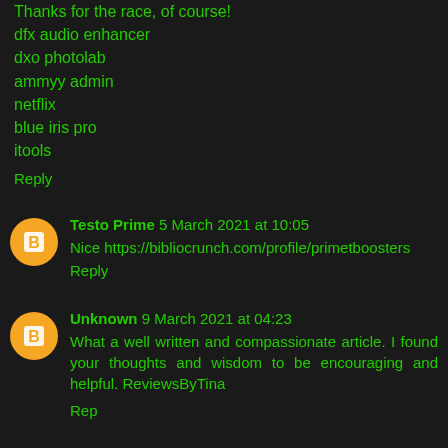Thanks for the race, of course!
dfx audio enhancer
dxo photolab
ammyy admin
netflix
blue iris pro
itools
Reply
Testo Prime 5 March 2021 at 10:05
Nice https://bibliocrunch.com/profile/primetboosters
Reply
Unknown 9 March 2021 at 04:23
What a well written and compassionate article. I found your thoughts and wisdom to be encouraging and helpful. ReviewsByTina
Reply